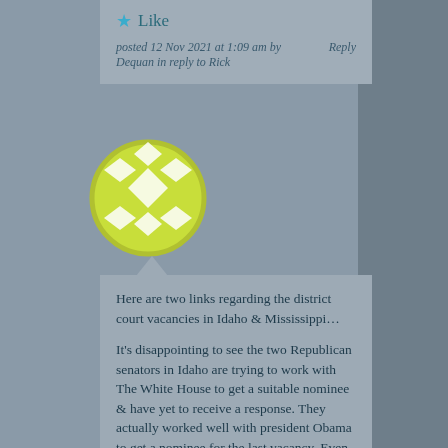Like
posted 12 Nov 2021 at 1:09 am by Dequan in reply to Rick         Reply
[Figure (illustration): Round avatar icon with yellow-green background and white diamond/cross pattern]
Here are two links regarding the district court vacancies in Idaho & Mississippi…

It's disappointing to see the two Republican senators in Idaho are trying to work with The White House to get a suitable nominee & have yet to receive a response. They actually worked well with president Obama to get a nominee for the last vacancy. Even after Mitch McConnell didn't give the nominee a vote, they kept the same nominee after Trump was sworn in even though they could have gotten a younger & more conservative nominee. This definitely should be a